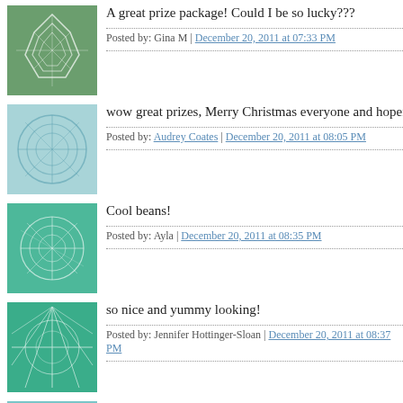A great prize package! Could I be so lucky???
Posted by: Gina M | December 20, 2011 at 07:33 PM
wow great prizes, Merry Christmas everyone and hopefully to m
Posted by: Audrey Coates | December 20, 2011 at 08:05 PM
Cool beans!
Posted by: Ayla | December 20, 2011 at 08:35 PM
so nice and yummy looking!
Posted by: Jennifer Hottinger-Sloan | December 20, 2011 at 08:37 PM
I have been longing for a Big Shot for soooo long. Thanks for the
Posted by: MaryBB | December 20, 2011 at 08:50 PM
What a great festive way to celebrate Christmas!!